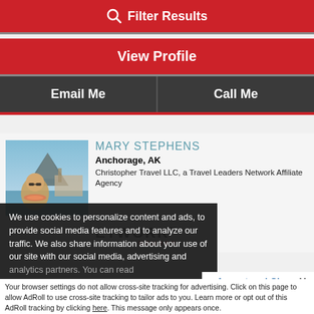Filter Results
View Profile
Email Me
Call Me
MARY STEPHENS
Anchorage, AK
Christopher Travel LLC, a Travel Leaders Network Affiliate Agency
[Figure (photo): Photo of Mary Stephens outdoors near water with mountains in background, wearing sunglasses and a lei]
ETWORK™ MEMBER
We use cookies to personalize content and ads, to provide social media features and to analyze our traffic. We also share information about your use of our site with our social media, advertising and analytics partners. You can read
Accept and Close ×
Your browser settings do not allow cross-site tracking for advertising. Click on this page to allow AdRoll to use cross-site tracking to tailor ads to you. Learn more or opt out of this AdRoll tracking by clicking here. This message only appears once.